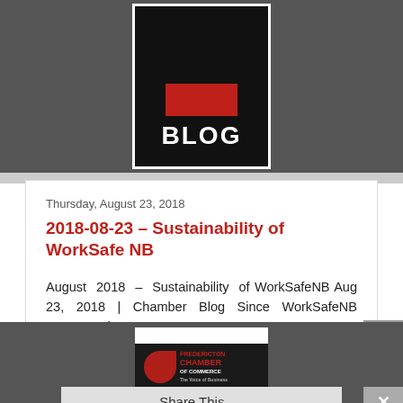[Figure (screenshot): Blog banner with dark grey background, a black box with white border containing red accent and white 'BLOG' text]
Thursday, August 23, 2018
2018-08-23 – Sustainability of WorkSafe NB
August 2018 – Sustainability of WorkSafeNB Aug 23, 2018 | Chamber Blog Since WorkSafeNB announced ...
[Figure (screenshot): Fredericton Chamber of Commerce Media Release card with logo on dark background]
Share This